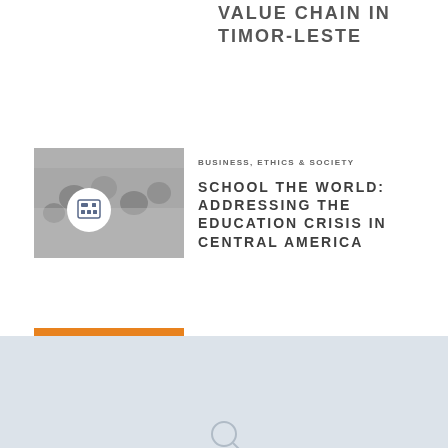VALUE CHAIN IN TIMOR-LESTE
BUSINESS, ETHICS & SOCIETY
SCHOOL THE WORLD: ADDRESSING THE EDUCATION CRISIS IN CENTRAL AMERICA
LEADERSHIP & MANAGEMENT
HERE'S AN IDEA: DON'T STEAL MY IDEA